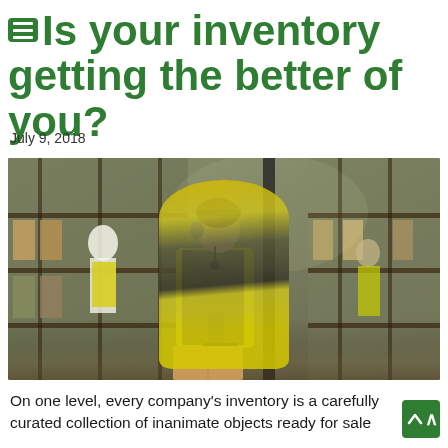Is your inventory getting the better of you?
July 9, 2018
[Figure (photo): Warehouse worker in yellow high-visibility vest and blue headset scanning a barcode on a cardboard box, with shelving racks and other workers visible in the background.]
On one level, every company's inventory is a carefully curated collection of inanimate objects ready for sale